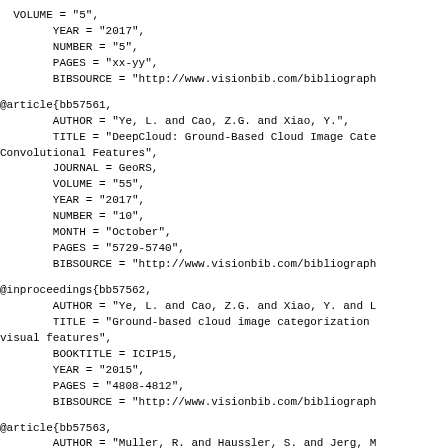VOLUME = "5",
  YEAR = "2017",
  NUMBER = "5",
  PAGES = "xx-yy",
  BIBSOURCE = "http://www.visionbib.com/bibliograph
@article{bb57561,
  AUTHOR = "Ye, L. and Cao, Z.G. and Xiao, Y.",
  TITLE = "DeepCloud: Ground-Based Cloud Image Cate
Convolutional Features",
  JOURNAL = GeoRS,
  VOLUME = "55",
  YEAR = "2017",
  NUMBER = "10",
  MONTH = "October",
  PAGES = "5729-5740",
  BIBSOURCE = "http://www.visionbib.com/bibliograph
@inproceedings{bb57562,
  AUTHOR = "Ye, L. and Cao, Z.G. and Xiao, Y. and L
  TITLE = "Ground-based cloud image categorization
visual features",
  BOOKTITLE = ICIP15,
  YEAR = "2015",
  PAGES = "4808-4812",
  BIBSOURCE = "http://www.visionbib.com/bibliograph
@article{bb57563,
  AUTHOR = "Muller, R. and Haussler, S. and Jerg, M
  TITLE = "The Role of NWP Filter for the Satellite
Cumulonimbus Clouds",